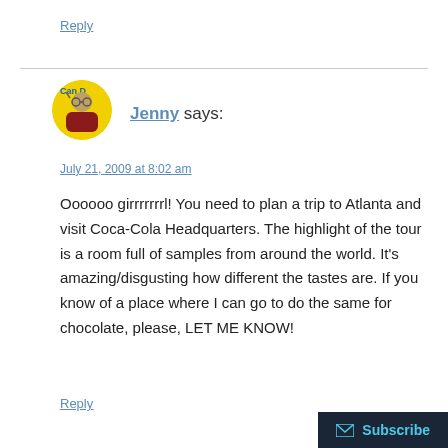Reply
Jenny says:
July 21, 2009 at 8:02 am
Oooooo girrrrrrrl! You need to plan a trip to Atlanta and visit Coca-Cola Headquarters. The highlight of the tour is a room full of samples from around the world. It's amazing/disgusting how different the tastes are. If you know of a place where I can go to do the same for chocolate, please, LET ME KNOW!
Reply
Subscribe